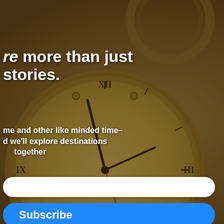ED BY 1 PERSON
r 4, 2014 at 2:38 pm
Christy 😀
mewhat weary and ain is trying to ith everything!
2014 at 2 PERSON
e release of your ood opportunity a peek ...
Luciana. ⭐
[Figure (screenshot): Email subscription modal popup overlaid on a blog page. The modal has a steampunk clock background image with white bold text reading 're more than just stories.' and 'me and other like minded time- d we'll explore destinations together'. Below is a white rounded input field, a blue Subscribe button, and a reCAPTCHA widget. A close (×) button appears at the top right.]
re more than just stories.
me and other like minded time- d we'll explore destinations together
Subscribe
reCAPTCHA Privacy · Terms